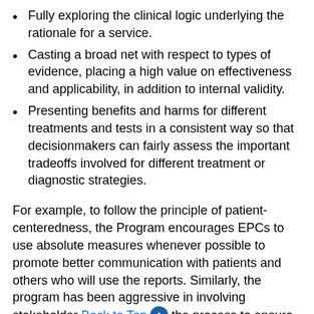Fully exploring the clinical logic underlying the rationale for a service.
Casting a broad net with respect to types of evidence, placing a high value on effectiveness and applicability, in addition to internal validity.
Presenting benefits and harms for different treatments and tests in a consistent way so that decisionmakers can fairly assess the important tradeoffs involved for different treatment or diagnostic strategies.
For example, to follow the principle of patient-centeredness, the Program encourages EPCs to use absolute measures whenever possible to promote better communication with patients and others who will use the reports. Similarly, the program has been aggressive in involving stakeholder Back to Top the process to ensure public participation and